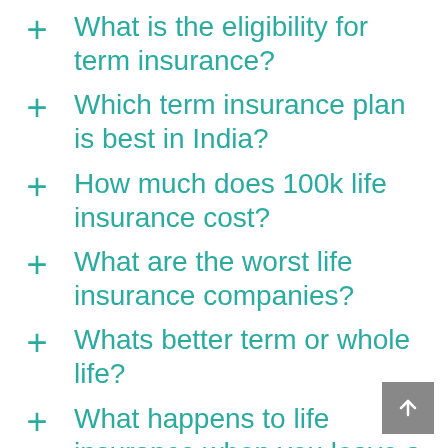+ What is the eligibility for term insurance?
+ Which term insurance plan is best in India?
+ How much does 100k life insurance cost?
+ What are the worst life insurance companies?
+ Whats better term or whole life?
+ What happens to life insurance when you leave a job?